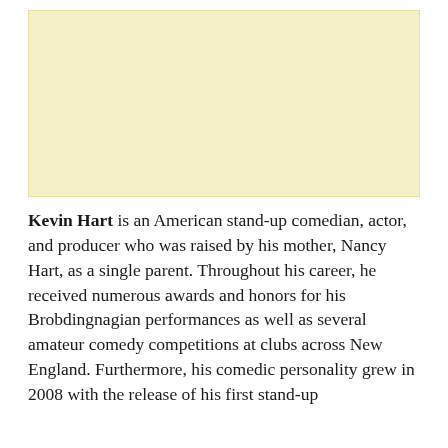[Figure (other): Yellow/cream colored rectangular placeholder image area]
Kevin Hart is an American stand-up comedian, actor, and producer who was raised by his mother, Nancy Hart, as a single parent. Throughout his career, he received numerous awards and honors for his Brobdingnagian performances as well as several amateur comedy competitions at clubs across New England. Furthermore, his comedic personality grew in 2008 with the release of his first stand-up